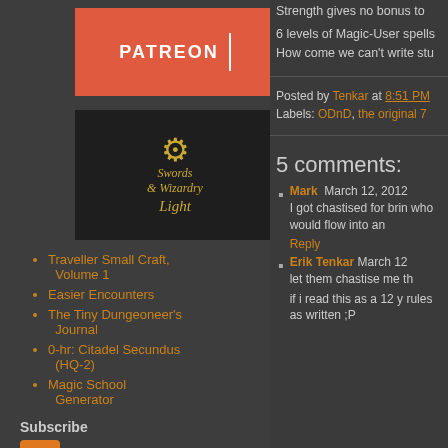[Figure (logo): Patreon logo block — coral/red rectangle with PATREON text in white bold letters and a vertical white divider line]
[Figure (illustration): Swords & Wizardry Light logo — golden coin/medallion with text on dark background]
Traveller Small Craft, Volume 1
Easier Encounters
The Tiny Dungeoneer's Journal
0-hr: Citadel Secundus (HQ-2)
Magic School Generator
Subscribe
[Figure (logo): RSS feed orange icon]
Subscribe in a
Strength gives no bonus to
6 levels of Magic-User spells How come we can't write stu
Posted by Tenkar at 8:51 PM
Labels: ODnD, the original 7
5 comments:
Mark  March 12, 2012
I got chastised for brin who would flow into an
Reply
Erik Tenkar  March 12
let them chastise me th
if i read this as a 12 y rules as written ;P